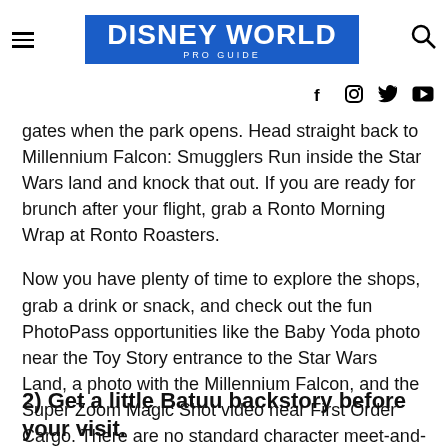DISNEY WORLD PRO GUIDE
gates when the park opens. Head straight back to Millennium Falcon: Smugglers Run inside the Star Wars land and knock that out. If you are ready for brunch after your flight, grab a Ronto Morning Wrap at Ronto Roasters.
Now you have plenty of time to explore the shops, grab a drink or snack, and check out the fun PhotoPass opportunities like the Baby Yoda photo near the Toy Story entrance to the Star Wars Land, a photo with the Millennium Falcon, and the Super Zoom Magic Shot video near First Order Cargo. There are no standard character meet-and-greets, but as you wander, youll likely encounter Storm Troopers, Kylo Ren, Chewbacca, Rey, or Resistance spy Vi Moradi.
2) Get a little Batuu backstory before your visit.